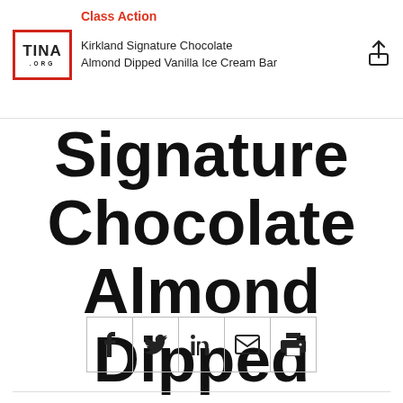Class Action | Kirkland Signature Chocolate Almond Dipped Vanilla Ice Cream Bar
Signature Chocolate Almond Dipped Vanilla Ice Cream Bar
[Figure (infographic): Social sharing buttons: Facebook, Twitter, LinkedIn, Email, Print]